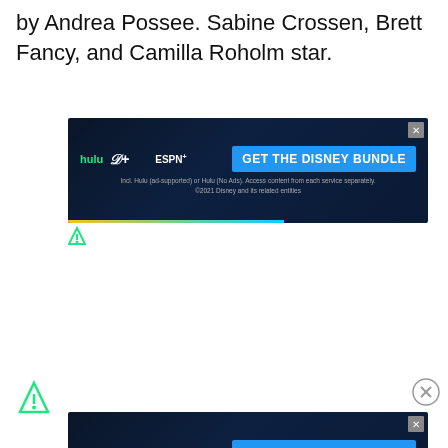by Andrea Possee. Sabine Crossen, Brett Fancy, and Camilla Roholm star.
[Figure (screenshot): Disney Bundle advertisement banner showing Hulu, Disney+, ESPN+ logos with 'GET THE DISNEY BUNDLE' call-to-action button and small print text about ad-supported access.]
[Figure (logo): Freestar advertising network icon - small teal/green stylized triangle logo]
[Figure (logo): Freestar advertising network icon - larger teal/green stylized triangle logo at bottom left]
[Figure (screenshot): Disney Bundle advertisement banner (bottom, partially visible) showing Hulu, Disney+, ESPN+ logos with 'GET THE DISNEY BUNDLE' call-to-action button.]